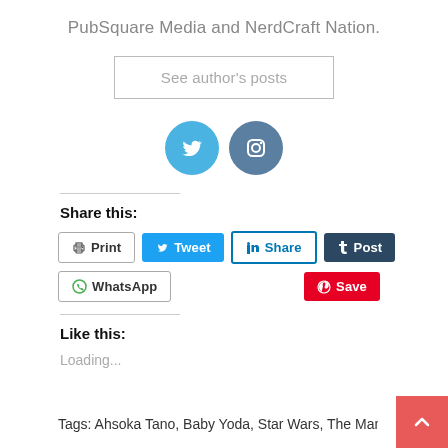PubSquare Media and NerdCraft Nation.
See author's posts
[Figure (illustration): Twitter bird icon (blue circle) and Instagram camera icon (dark blue-grey circle)]
Share this:
Print  Tweet  Share  Post  WhatsApp  Save
Like this:
Loading...
Tags: Ahsoka Tano, Baby Yoda, Star Wars, The Mandalorian